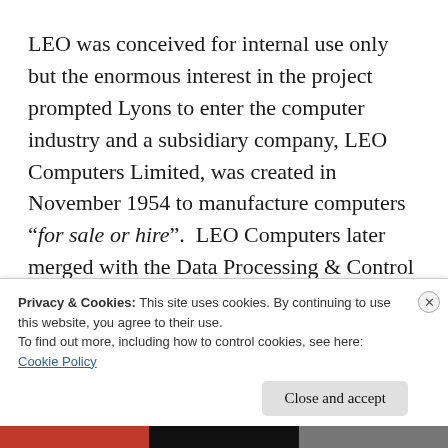LEO was conceived for internal use only but the enormous interest in the project prompted Lyons to enter the computer industry and a subsidiary company, LEO Computers Limited, was created in November 1954 to manufacture computers "for sale or hire". LEO Computers later merged with the Data Processing & Control Systems Division of English Electric to form English Electric Leo Computers which
Privacy & Cookies: This site uses cookies. By continuing to use this website, you agree to their use.
To find out more, including how to control cookies, see here:
Cookie Policy